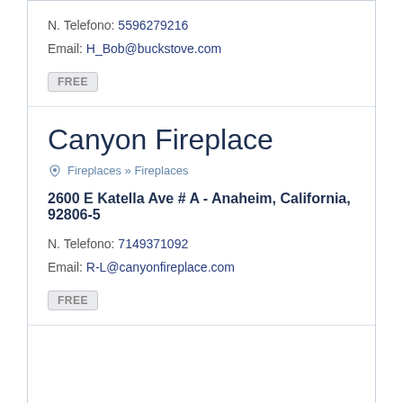N. Telefono: 5596279216
Email: H_Bob@buckstove.com
FREE
Canyon Fireplace
Fireplaces » Fireplaces
2600 E Katella Ave # A - Anaheim, California, 92806-5
N. Telefono: 7149371092
Email: R-L@canyonfireplace.com
FREE